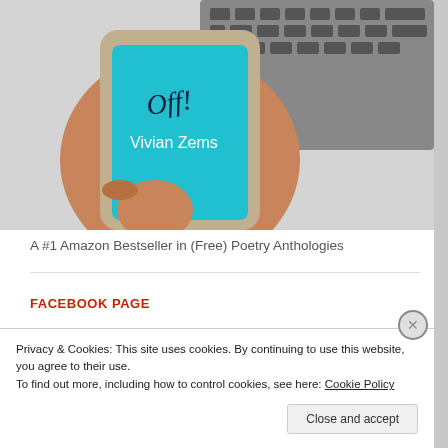[Figure (photo): Hand holding a smartphone with a cyan/teal screen showing handwritten text 'Off!' and 'Vivian Zems', with a keyboard visible in the background]
A #1 Amazon Bestseller in (Free) Poetry Anthologies
FACEBOOK PAGE
BLOG STATS
Privacy & Cookies: This site uses cookies. By continuing to use this website, you agree to their use.
To find out more, including how to control cookies, see here: Cookie Policy